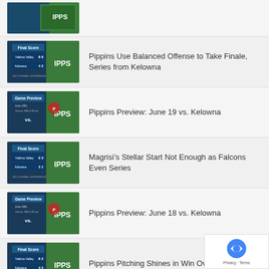[Figure (screenshot): Thumbnail image - game/baseball related graphic (partial, top of list)]
[Figure (screenshot): Final Score thumbnail - Yakima Valley vs Kelowna baseball game]
Pippins Use Balanced Offense to Take Finale, Series from Kelowna
[Figure (screenshot): Game Preview thumbnail - June 19 vs Kelowna]
Pippins Preview: June 19 vs. Kelowna
[Figure (screenshot): Final Score thumbnail - Magrisi's game, Falcons vs Kelowna]
Magrisi’s Stellar Start Not Enough as Falcons Even Series
[Figure (screenshot): Game Preview thumbnail - June 18 vs Kelowna]
Pippins Preview: June 18 vs. Kelowna
[Figure (screenshot): Final Score thumbnail - Pippins Pitching Shines, Win Over Kelowna]
Pippins Pitching Shines in Win Over Kelowna
[Figure (screenshot): Game Preview thumbnail - June 17 vs Kelowna (partial)]
Pippins Preview: June 17 vs. Kelowna